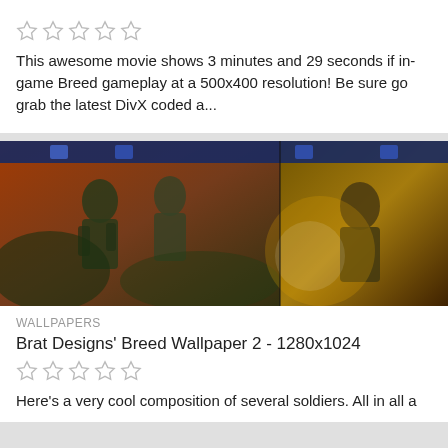[Figure (other): Five empty star rating icons in a row]
This awesome movie shows 3 minutes and 29 seconds if in-game Breed gameplay at a 500x400 resolution! Be sure go grab the latest DivX coded a...
[Figure (photo): A collage of sci-fi soldiers/warriors artwork for Breed game wallpaper, split into two panels. Left panel shows armored soldiers in an orange/red environment; right panel shows a soldier in a yellow/gold explosive scene. A navigation bar with icons is visible at the top.]
WALLPAPERS
Brat Designs' Breed Wallpaper 2 - 1280x1024
[Figure (other): Five empty star rating icons in a row]
Here's a very cool composition of several soldiers. All in all a